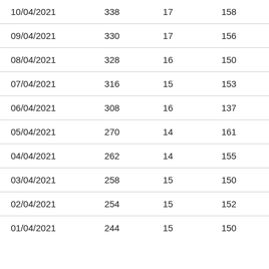| 10/04/2021 | 338 | 17 | 158 |
| 09/04/2021 | 330 | 17 | 156 |
| 08/04/2021 | 328 | 16 | 150 |
| 07/04/2021 | 316 | 15 | 153 |
| 06/04/2021 | 308 | 16 | 137 |
| 05/04/2021 | 270 | 14 | 161 |
| 04/04/2021 | 262 | 14 | 155 |
| 03/04/2021 | 258 | 15 | 150 |
| 02/04/2021 | 254 | 15 | 152 |
| 01/04/2021 | 244 | 15 | 150 |